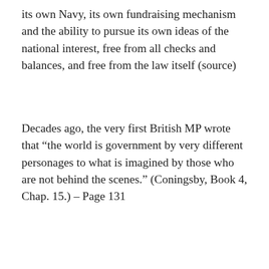its own Navy, its own fundraising mechanism and the ability to pursue its own ideas of the national interest, free from all checks and balances, and free from the law itself (source)
Decades ago, the very first British MP wrote that “the world is government by very different personages to what is imagined by those who are not behind the scenes.” (Coningsby, Book 4, Chap. 15.) – Page 131
The 26th U.S. president, Theodor Roosevelt made a hard-hitting
Privacy & Cookies: This site uses cookies. By continuing to use this website, you agree to their use.
To find out more, including how to control cookies, see here: Cookie Policy
Close and accept